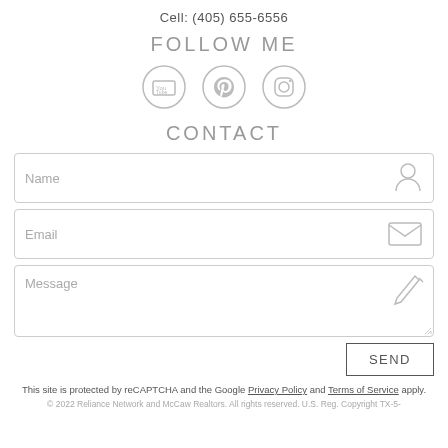Cell: (405) 655-6556
FOLLOW ME
[Figure (illustration): Three social media icons in circles: YouTube, Pinterest, Instagram]
CONTACT
[Figure (screenshot): Contact form with Name, Email, Message fields and SEND button]
This site is protected by reCAPTCHA and the Google Privacy Policy and Terms of Service apply.
© 2022 Reliance Network and McCaw Realtors. All rights reserved. U.S. Reg. Copyright TX-5-910-991, TX-5-910-992, TX-5-910-993, and TX-5-910-994.